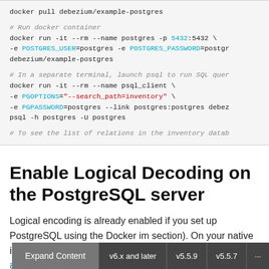docker pull debezium/example-postgres
# Run docker container
docker run -it --rm --name postgres -p 5432:5432 \
-e POSTGRES_USER=postgres -e POSTGRES_PASSWORD=postgr
debezium/example-postgres
# In a separate terminal, launch psql to run SQL quer
docker run -it --rm --name psql_client \
-e PGOPTIONS="--search_path=inventory" \
-e PGPASSWORD=postgres --link postgres:postgres debez
psql -h postgres -U postgres
# To see the list of relations in the inventory datab
Enable Logical Decoding on the PostgreSQL server
Logical encoding is already enabled if you set up PostgreSQL using the Docker im... section). On your native installation, follow these steps to Enable Logical Decoding and Replication on the